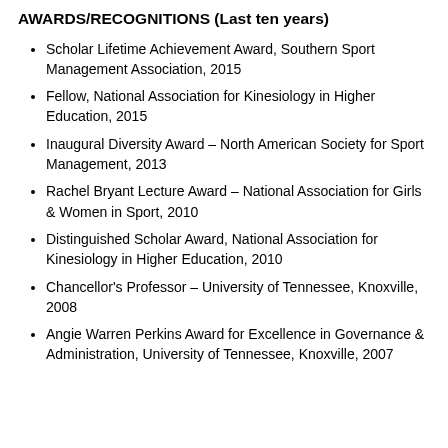AWARDS/RECOGNITIONS (Last ten years)
Scholar Lifetime Achievement Award, Southern Sport Management Association, 2015
Fellow, National Association for Kinesiology in Higher Education, 2015
Inaugural Diversity Award – North American Society for Sport Management, 2013
Rachel Bryant Lecture Award – National Association for Girls & Women in Sport, 2010
Distinguished Scholar Award, National Association for Kinesiology in Higher Education, 2010
Chancellor's Professor – University of Tennessee, Knoxville, 2008
Angie Warren Perkins Award for Excellence in Governance & Administration, University of Tennessee, Knoxville, 2007